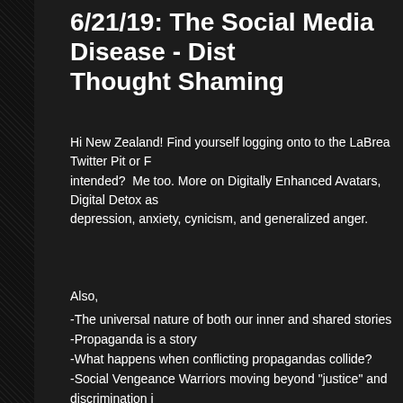6/21/19: The Social Media Disease - Dist... Thought Shaming
Hi New Zealand! Find yourself logging onto to the LaBrea Twitter Pit or F... intended? Me too. More on Digitally Enhanced Avatars, Digital Detox as depression, anxiety, cynicism, and generalized anger.
Also,
-The universal nature of both our inner and shared stories
-Propaganda is a story
-What happens when conflicting propagandas collide?
-Social Vengeance Warriors moving beyond "justice" and discrimination i...
[Figure (logo): PodBean podcast logo partially visible in bottom right of a white/light grey player embed area]
*Like it? SPREAD IT! F**k The Zuck & Twitter. YOU are my marketing t... *Subscribe on Apple Podcasts, YouTube, and your favorite podcatcher. M...